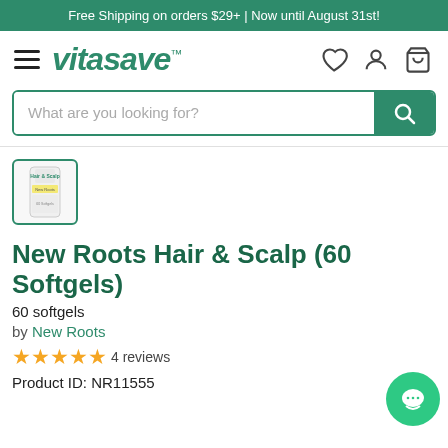Free Shipping on orders $29+ | Now until August 31st!
[Figure (logo): Vitasave logo with hamburger menu and nav icons (heart, person, cart)]
[Figure (screenshot): Search bar with placeholder 'What are you looking for?' and green search button]
[Figure (photo): Thumbnail image of New Roots Hair & Scalp product bottle]
New Roots Hair & Scalp (60 Softgels)
60 softgels
by New Roots
★★★★★ 4 reviews
Product ID: NR11555